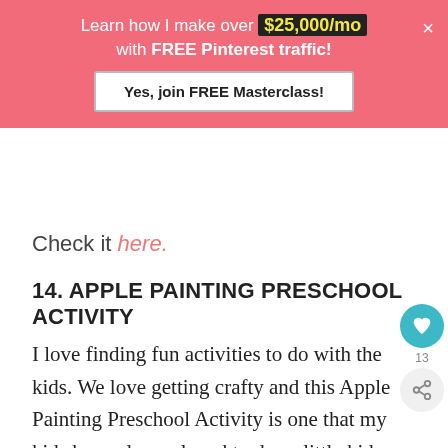[Figure (infographic): Pink promotional banner: 'Learn how I make over $25,000/mo with FREE Pinterest traffic!' with a white 'Yes, join FREE Masterclass!' button and a close X button]
Check it here.
14. APPLE PAINTING PRESCHOOL ACTIVITY
I love finding fun activities to do with the kids. We love getting crafty and this Apple Painting Preschool Activity is one that my kids have always loved to do as little kids. Apple painting can get a bit messy, but I totally believe tha